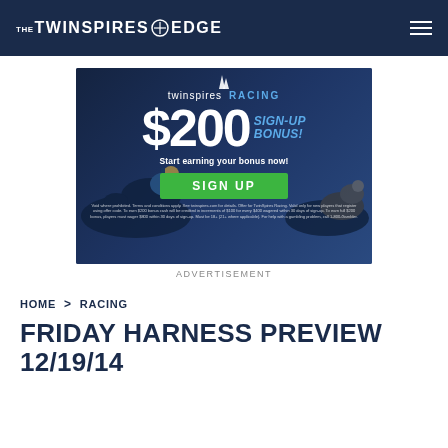THE TWINSPIRES EDGE
[Figure (other): TwinSpires Racing $200 Sign-Up Bonus advertisement with jockey on horse, green SIGN UP button]
ADVERTISEMENT
HOME > RACING
FRIDAY HARNESS PREVIEW 12/19/14